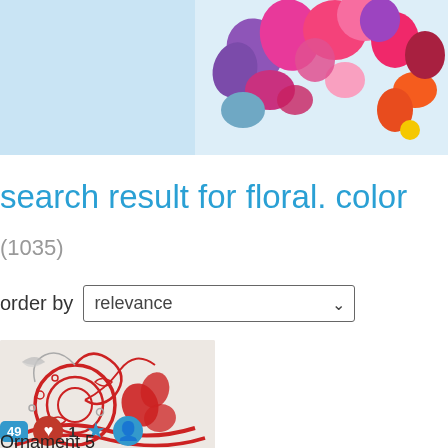[Figure (illustration): Top banner with light blue background on left and colorful floral pattern (pink, purple, red, orange flowers) on right]
search result for floral. color
(1035)
order by  relevance
[Figure (illustration): Red and grey decorative floral ornament swirl design on beige background]
49  1  ★  person-icon
Ornament 5